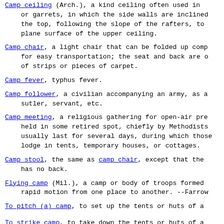Camp ceiling (Arch.), a kind ceiling often used in or garrets, in which the side walls are inclined the top, following the slope of the rafters, to plane surface of the upper ceiling.
Camp chair, a light chair that can be folded up comp for easy transportation; the seat and back are of strips or pieces of carpet.
Camp fever, typhus fever.
Camp follower, a civilian accompanying an army, as a sutler, servant, etc.
Camp meeting, a religious gathering for open-air pre held in some retired spot, chiefly by Methodists usually last for several days, during which those lodge in tents, temporary houses, or cottages.
Camp stool, the same as camp chair, except that the has no back.
Flying camp (Mil.), a camp or body of troops formed rapid motion from one place to another. --Farrow
To pitch (a) camp, to set up the tents or huts of a
To strike camp, to take down the tents or huts of a [1913 Webster]